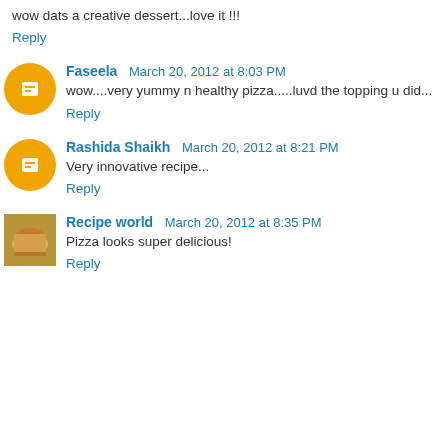wow dats a creative dessert...love it !!!
Reply
Faseela  March 20, 2012 at 8:03 PM
wow....very yummy n healthy pizza.....luvd the topping u did...
Reply
Rashida Shaikh  March 20, 2012 at 8:21 PM
Very innovative recipe...
Reply
Recipe world  March 20, 2012 at 8:35 PM
Pizza looks super delicious!
Reply